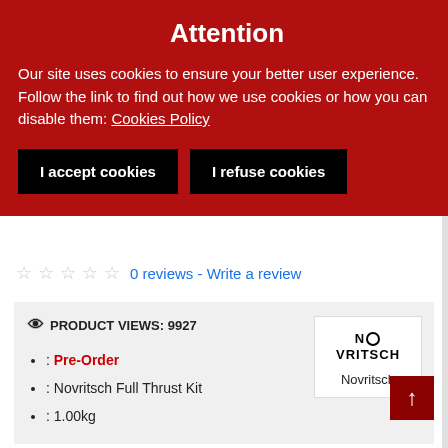Attention
Our site uses cookies to ensure your better user experience. Follow the link to find out how we use cookies or how you can disable them: Cookies Policy
I accept cookies
I refuse cookies
☆ ☆ ☆ ☆ ☆  0 reviews - Write a review
| PRODUCT VIEWS: 9927 | NOVRITSCH |
| : Pre-Order
: Novritsch Full Thrust Kit
: 1.00kg | Novritsch |
MORE FROM THIS BRAND
NOVRITSCH Scope...
Novritsch Suppressor